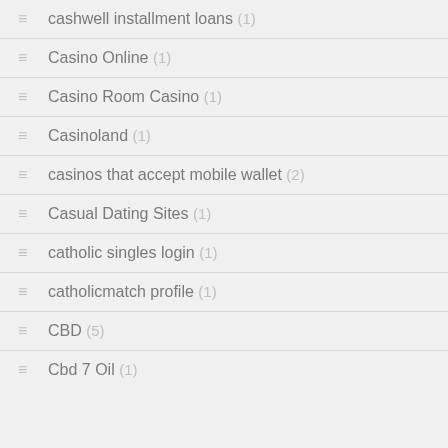cashwell installment loans (1)
Casino Online (1)
Casino Room Casino (1)
Casinoland (1)
casinos that accept mobile wallet (2)
Casual Dating Sites (1)
catholic singles login (1)
catholicmatch profile (1)
CBD (5)
Cbd 7 Oil (1)